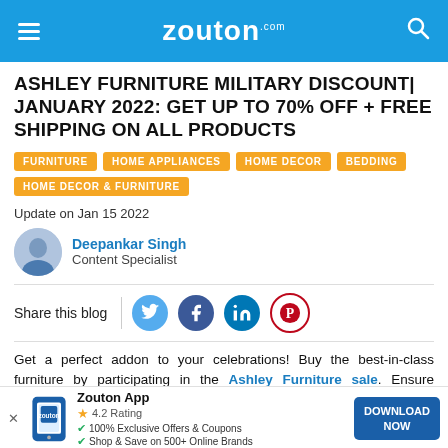zouton.com
ASHLEY FURNITURE MILITARY DISCOUNT| JANUARY 2022: GET UP TO 70% OFF + FREE SHIPPING ON ALL PRODUCTS
FURNITURE
HOME APPLIANCES
HOME DECOR
BEDDING
HOME DECOR & FURNITURE
Update on Jan 15 2022
Deepankar Singh
Content Specialist
Share this blog
Get a perfect addon to your celebrations! Buy the best-in-class furniture by participating in the Ashley Furniture sale. Ensure unlimited savings this year. Save instantly and enjoy free shipping.
Zouton App
4.2 Rating
100% Exclusive Offers & Coupons
Shop & Save on 500+ Online Brands